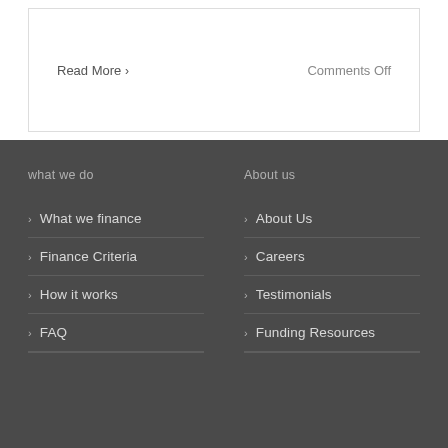Read More ›
Comments Off
what we do
About us
What we finance
Finance Criteria
How it works
FAQ
About Us
Careers
Testimonials
Funding Resources